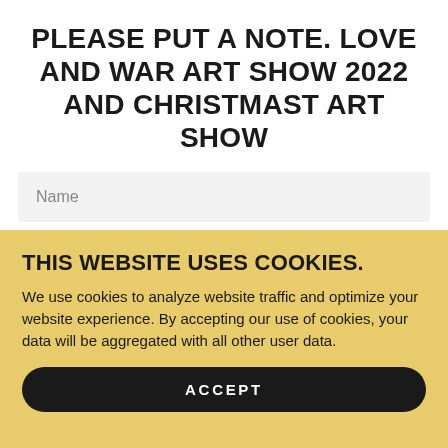PLEASE PUT A NOTE. LOVE AND WAR ART SHOW 2022 AND CHRISTMAST ART SHOW
Name
Email*
THIS WEBSITE USES COOKIES.
We use cookies to analyze website traffic and optimize your website experience. By accepting our use of cookies, your data will be aggregated with all other user data.
ACCEPT